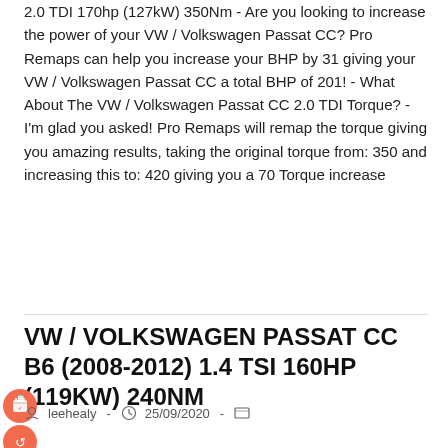2.0 TDI 170hp (127kW) 350Nm - Are you looking to increase the power of your VW / Volkswagen Passat CC? Pro Remaps can help you increase your BHP by 31 giving your VW / Volkswagen Passat CC a total BHP of 201! - What About The VW / Volkswagen Passat CC 2.0 TDI Torque? - I'm glad you asked! Pro Remaps will remap the torque giving you amazing results, taking the original torque from: 350 and increasing this to: 420 giving you a 70 Torque increase
Continue Reading ›
VW / VOLKSWAGEN PASSAT CC B6 (2008-2012) 1.4 TSI 160HP (119KW) 240NM
leehealy · 25/09/2020 ·